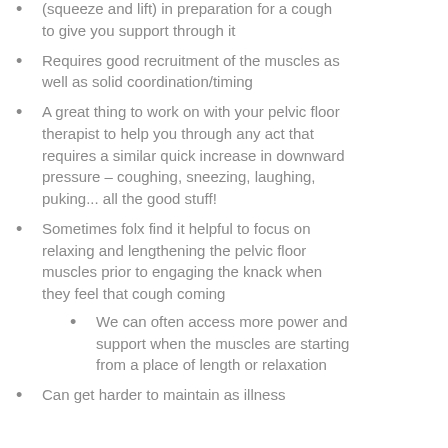(squeeze and lift) in preparation for a cough to give you support through it
Requires good recruitment of the muscles as well as solid coordination/timing
A great thing to work on with your pelvic floor therapist to help you through any act that requires a similar quick increase in downward pressure – coughing, sneezing, laughing, puking... all the good stuff!
Sometimes folx find it helpful to focus on relaxing and lengthening the pelvic floor muscles prior to engaging the knack when they feel that cough coming
We can often access more power and support when the muscles are starting from a place of length or relaxation
Can get harder to maintain as illness